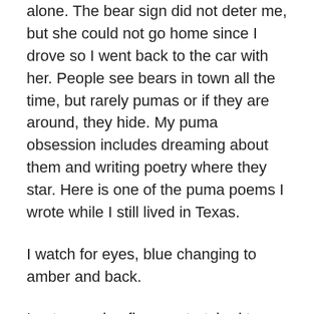alone. The bear sign did not deter me, but she could not go home since I drove so I went back to the car with her. People see bears in town all the time, but rarely pumas or if they are around, they hide. My puma obsession includes dreaming about them and writing poetry where they star. Here is one of the puma poems I wrote while I still lived in Texas.
I watch for eyes, blue changing to amber and back.
I put my palm, fingers stretched to measure, into the footprint.
Too small, bobcat
No puma.